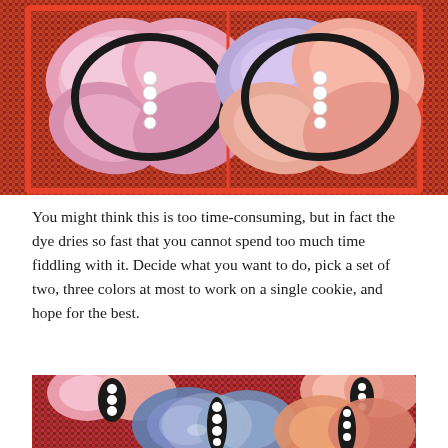[Figure (photo): Two butterfly-shaped cookies side by side on a woven red/orange textile background. Left butterfly has pink and white wings with black outline and white pearl body. Right butterfly has lavender/purple and pink/orange wings with black outline and white pearl body.]
You might think this is too time-consuming, but in fact the dye dries so fast that you cannot spend too much time fiddling with it. Decide what you want to do, pick a set of two, three colors at most to work on a single cookie, and hope for the best.
[Figure (photo): Multiple butterfly-shaped cookies arranged on a woven red/pink textile. Includes pink butterflies, blue/silver glittery butterfly, and orange-toned butterfly, all with black outlines and white pearl bodies.]